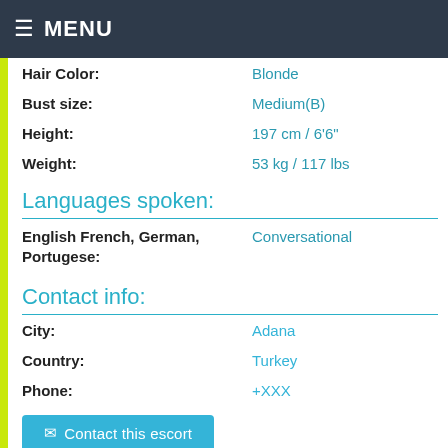MENU
Hair Color: Blonde
Bust size: Medium(B)
Height: 197 cm / 6'6"
Weight: 53 kg / 117 lbs
Languages spoken:
English French, German, Portugese: Conversational
Contact info:
City: Adana
Country: Turkey
Phone: +XXX
Contact this escort
Services: